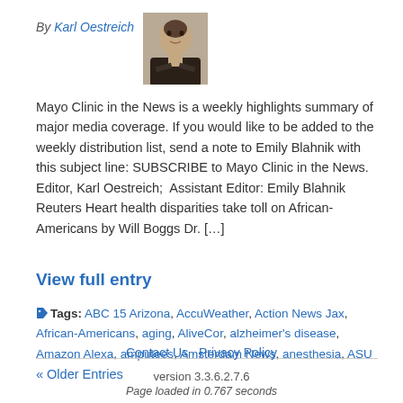By Karl Oestreich [with photo]
Mayo Clinic in the News is a weekly highlights summary of major media coverage. If you would like to be added to the weekly distribution list, send a note to Emily Blahnik with this subject line: SUBSCRIBE to Mayo Clinic in the News. Editor, Karl Oestreich;  Assistant Editor: Emily Blahnik   Reuters Heart health disparities take toll on African-Americans by Will Boggs Dr. […]
View full entry
Tags: ABC 15 Arizona, AccuWeather, Action News Jax, African-Americans, aging, AliveCor, alzheimer's disease, Amazon Alexa, amputees, Amsterdam News, anesthesia, ASU
« Older Entries
Contact Us · Privacy Policy
version 3.3.6.2.7.6
Page loaded in 0.767 seconds